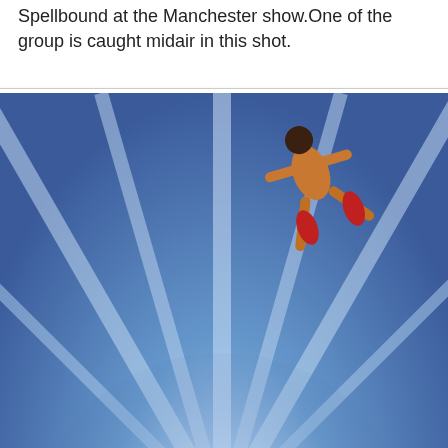Spellbound at the Manchester show.One of the group is caught midair in this shot.
[Figure (photo): Acrobatic performers at the Manchester show; one performer is caught midair above a group of acrobats against a blue starburst background.]
Photocalls for new books with the authorare often dull affairs,so is Ryan Giggs but as we did the shoot on the pitch of Old Trafford I think this picture came out well, even though I cropped his feet off the shot lol.